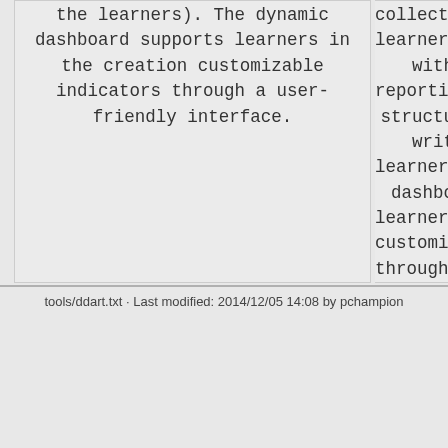the learners). The dynamic dashboard supports learners in the creation customizable indicators through a user-friendly interface.
collected learners with reporting structu writ learners dashbo learners customiza through a in
tools/ddart.txt · Last modified: 2014/12/05 14:08 by pchampion